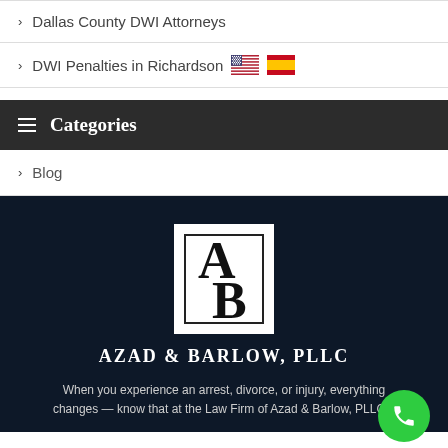Dallas County DWI Attorneys
DWI Penalties in Richardson
Categories
Blog
[Figure (logo): Azad & Barlow PLLC law firm logo — AB monogram in black and white square]
AZAD & BARLOW, PLLC
When you experience an arrest, divorce, or injury, everything changes — know that at the Law Firm of Azad & Barlow, PLLC...